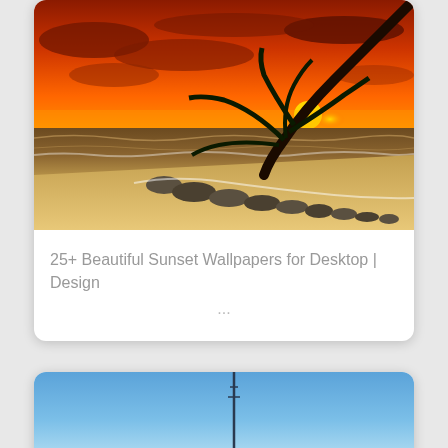[Figure (photo): Tropical beach sunset with vivid orange-red sky, palm tree silhouette leaning from upper right, waves and rocks on sandy shore]
25+ Beautiful Sunset Wallpapers for Desktop | Design ...
[Figure (photo): Blue sky with a tall structure or tower visible, partial view at bottom of page]